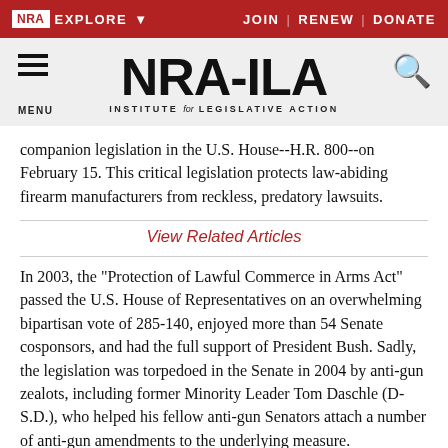NRA EXPLORE  JOIN | RENEW | DONATE
[Figure (logo): NRA-ILA Institute for Legislative Action logo with hamburger menu and search icon on gray background]
companion legislation in the U.S. House--H.R. 800--on February 15. This critical legislation protects law-abiding firearm manufacturers from reckless, predatory lawsuits.
View Related Articles
In 2003, the "Protection of Lawful Commerce in Arms Act" passed the U.S. House of Representatives on an overwhelming bipartisan vote of 285-140, enjoyed more than 54 Senate cosponsors, and had the full support of President Bush. Sadly, the legislation was torpedoed in the Senate in 2004 by anti-gun zealots, including former Minority Leader Tom Daschle (D-S.D.), who helped his fellow anti-gun Senators attach a number of anti-gun amendments to the underlying measure.